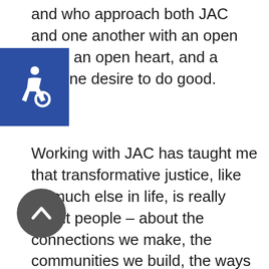and who approach both JAC and one another with an open mind, an open heart, and a genuine desire to do good.
[Figure (illustration): Accessibility icon — white wheelchair symbol on a blue square background]
Working with JAC has taught me that transformative justice, like so much else in life, is really about people – about the connections we make, the communities we build, the ways we love and support and show up for one another. JAC has challenged and enabled me to think more critically about my own involvement in this work, to approach my own advocacy, my relationships, and myself with more compassion, more consideration, and more
[Figure (illustration): Scroll-to-top button — white upward chevron arrow on a dark grey circle]